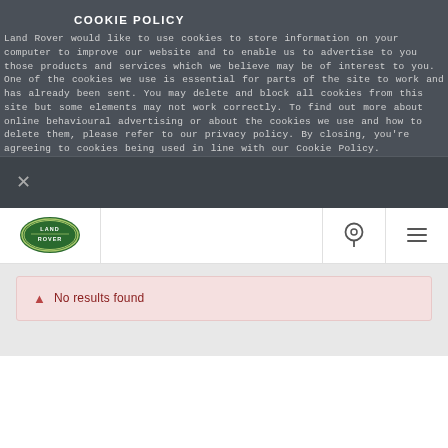COOKIE POLICY
Land Rover would like to use cookies to store information on your computer to improve our website and to enable us to advertise to you those products and services which we believe may be of interest to you. One of the cookies we use is essential for parts of the site to work and has already been sent. You may delete and block all cookies from this site but some elements may not work correctly. To find out more about online behavioural advertising or about the cookies we use and how to delete them, please refer to our privacy policy. By closing, you're agreeing to cookies being used in line with our Cookie Policy.
[Figure (logo): Land Rover oval green logo]
No results found